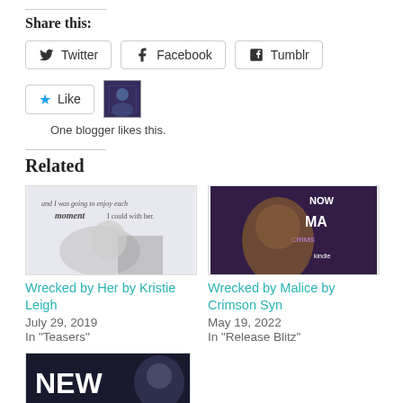Share this:
Twitter
Facebook
Tumblr
One blogger likes this.
Related
[Figure (photo): Book cover image for Wrecked by Her by Kristie Leigh - shows a couple with text overlay 'and I was going to enjoy each moment I could with her']
Wrecked by Her by Kristie Leigh
July 29, 2019
In "Teasers"
[Figure (photo): Book cover image for Wrecked by Malice by Crimson Syn - shows a tattooed man with motorcycle club theme, text NOW and MAL visible]
Wrecked by Malice by Crimson Syn
May 19, 2022
In "Release Blitz"
[Figure (photo): Partial book cover showing NEW text and a man's face in dark tones]